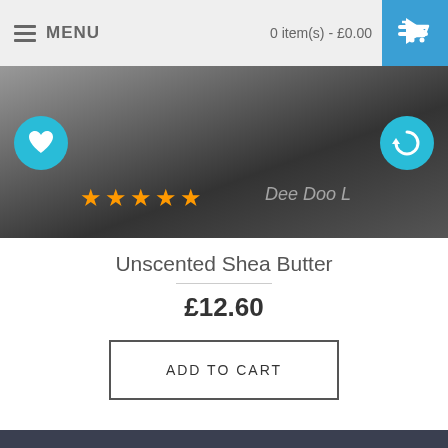MENU   0 item(s) - £0.00
[Figure (photo): Product image showing dark jars of Unscented Shea Butter with star rating overlay, heart icon button on left, refresh icon button on right, text 'Dee Doo L' visible]
Unscented Shea Butter
£12.60
ADD TO CART
Showing 1 to 7 of 7 (1 Pages)
CHECKOUT
CONTACT US
INFORMATION